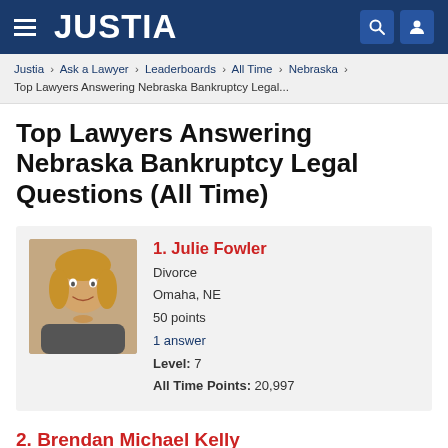JUSTIA
Justia › Ask a Lawyer › Leaderboards › All Time › Nebraska › Top Lawyers Answering Nebraska Bankruptcy Legal...
Top Lawyers Answering Nebraska Bankruptcy Legal Questions (All Time)
1. Julie Fowler
Divorce
Omaha, NE
50 points
1 answer
Level: 7
All Time Points: 20,997
2. Brendan Michael Kelly